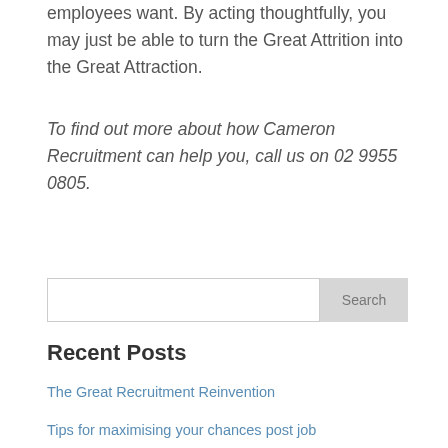employees want. By acting thoughtfully, you may just be able to turn the Great Attrition into the Great Attraction.
To find out more about how Cameron Recruitment can help you, call us on 02 9955 0805.
Search
Recent Posts
The Great Recruitment Reinvention
Tips for maximising your chances post job